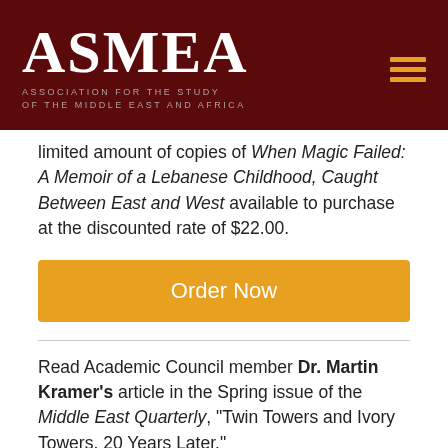ASMEA — ASSOCIATION FOR THE STUDY OF THE MIDDLE EAST AND AFRICA
limited amount of copies of When Magic Failed: A Memoir of a Lebanese Childhood, Caught Between East and West available to purchase at the discounted rate of $22.00.
[Figure (other): Orange button labeled 'Order Now']
Read Academic Council member Dr. Martin Kramer's article in the Spring issue of the Middle East Quarterly, "Twin Towers and Ivory Towers, 20 Years Later."